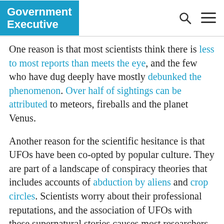Government Executive
One reason is that most scientists think there is less to most reports than meets the eye, and the few who have dug deeply have mostly debunked the phenomenon. Over half of sightings can be attributed to meteors, fireballs and the planet Venus.
Another reason for the scientific hesitance is that UFOs have been co-opted by popular culture. They are part of a landscape of conspiracy theories that includes accounts of abduction by aliens and crop circles. Scientists worry about their professional reputations, and the association of UFOs with these supernatural stories causes most researchers to avoid the topic.
But some scientists have looked. In 1968, Edward U. Condon at the University of Colorado published the first